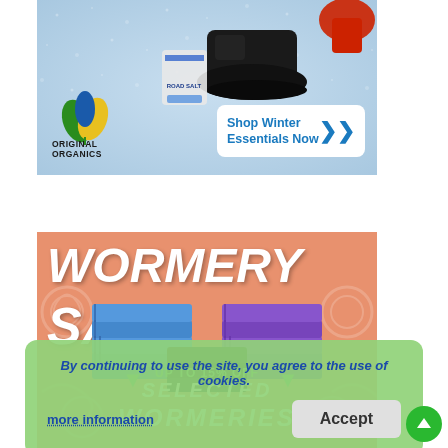[Figure (illustration): Original Organics winter essentials advertisement banner. Shows winter boots, road salt/ice melt bags, and red gloves on a snowy blue background. Original Organics green leaf logo on left. Blue 'Shop Winter Essentials Now' button with chevron arrow on right.]
[Figure (illustration): Wormery Sale promotional banner on salmon/peach background. Large white bold italic text reads 'WORMERY SALE'. Blue and purple stackable wormery composting boxes shown. Faint worm/composting icons in background. Green arrow and text reading 'UP TO 15% OFF SELECTED WORMERIES'.]
By continuing to use the site, you agree to the use of cookies.
more information
Accept